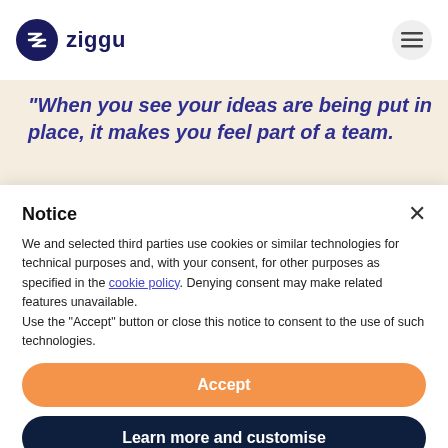ziggu
[Figure (screenshot): Ziggu logo with dark navy circle containing a stylized Z arrow, followed by the text 'ziggu' in dark navy bold font, and a hamburger menu icon on the right]
"When you see your ideas are being put in place, it makes you feel part of a team.
Notice
We and selected third parties use cookies or similar technologies for technical purposes and, with your consent, for other purposes as specified in the cookie policy. Denying consent may make related features unavailable.
Use the "Accept" button or close this notice to consent to the use of such technologies.
Accept
Learn more and customise